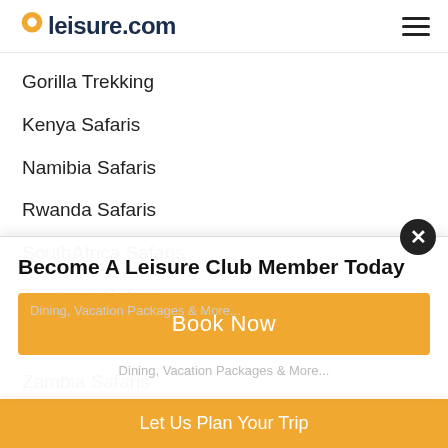leisure.com
Gorilla Trekking
Kenya Safaris
Namibia Safaris
Rwanda Safaris
SouthAfrica Safaris
Tanzania Safaris
Uganda Safaris
Zambia Safaris
Zimbabwe Safaris
Become A Leisure Club Member Today
Book Now
Let Us Plan Your Trip